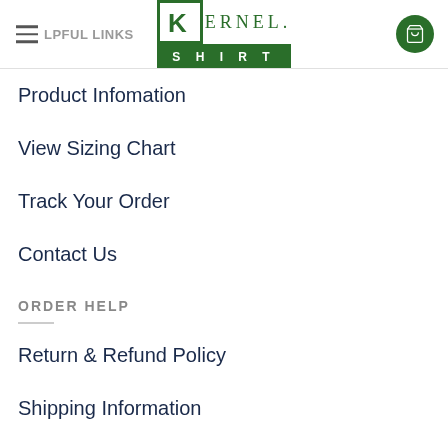HELPFUL LINKS — Kernel Shirt logo and cart
Product Infomation
View Sizing Chart
Track Your Order
Contact Us
ORDER HELP
Return & Refund Policy
Shipping Information
Privacy Policy